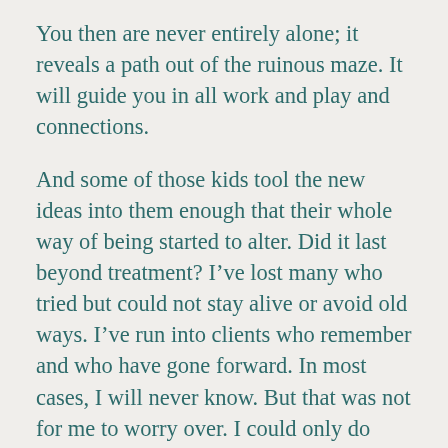You then are never entirely alone; it reveals a path out of the ruinous maze. It will guide you in all work and play and connections.
And some of those kids tool the new ideas into them enough that their whole way of being started to alter. Did it last beyond treatment? I've lost many who tried but could not stay alive or avoid old ways. I've run into clients who remember and who have gone forward. In most cases, I will never know. But that was not for me to worry over. I could only do what I could do. I have been given the gift of journeying with each, in any case.
Was I actually caring for my own youthful self when I took that job? Perhaps, in part,